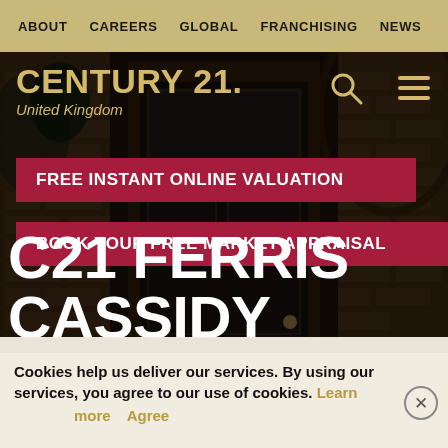ABOUT  CAREERS  GLOBAL  FRANCHISING  NEWS
[Figure (screenshot): Century 21 UK real estate website homepage screenshot showing a dark moody photo of a front door with brick surround. Overlay contains logo, search and menu icons, two red CTA buttons, and large white heading text.]
CENTURY 21. United Kingdom
FREE INSTANT ONLINE VALUATION
BOOK YOUR FREE MARKET APPRAISAL
C21 FERRIS CASSIDY
Cookies help us deliver our services. By using our services, you agree to our use of cookies. Learn more  Agree